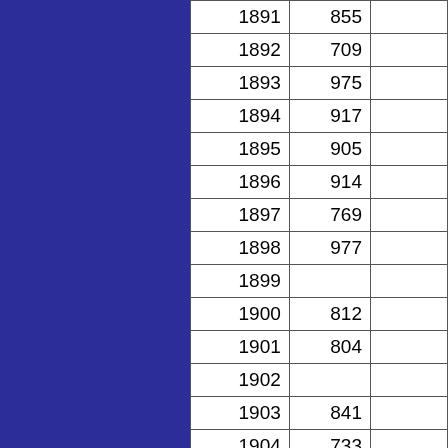| 1891 | 855 |  |
| 1892 | 709 |  |
| 1893 | 975 |  |
| 1894 | 917 |  |
| 1895 | 905 |  |
| 1896 | 914 |  |
| 1897 | 769 |  |
| 1898 | 977 |  |
| 1899 |  |  |
| 1900 | 812 |  |
| 1901 | 804 |  |
| 1902 |  |  |
| 1903 | 841 |  |
| 1904 | 733 |  |
| 1905 | 978 |  |
| 1906 | 720 |  |
| 1907 | 712 |  |